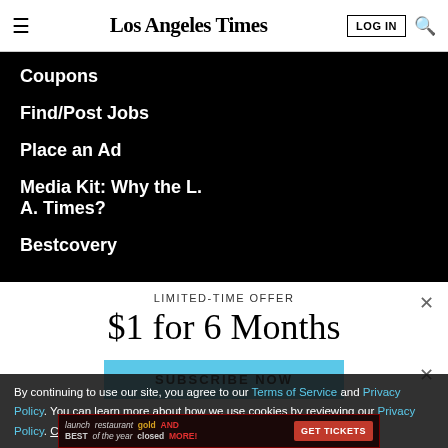Los Angeles Times — LOG IN | Search
Coupons
Find/Post Jobs
Place an Ad
Media Kit: Why the L.A. Times?
Bestcovery
LIMITED-TIME OFFER
$1 for 6 Months
SUBSCRIBE NOW
By continuing to use our site, you agree to our Terms of Service and Privacy Policy. You can learn more about how we use cookies by reviewing our Privacy Policy. Close